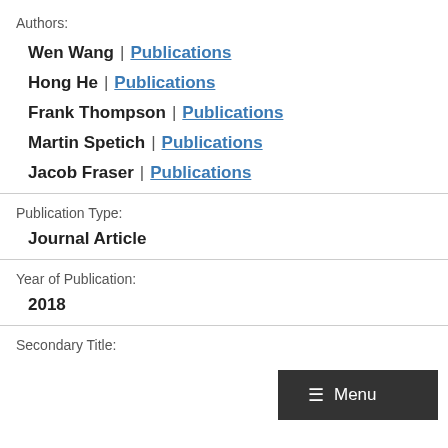Authors:
Wen Wang | Publications
Hong He | Publications
Frank Thompson | Publications
Martin Spetich | Publications
Jacob Fraser | Publications
Publication Type:
Journal Article
Year of Publication:
2018
Secondary Title: